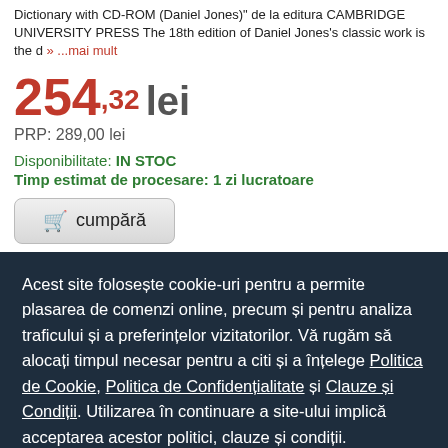Dictionary with CD-ROM (Daniel Jones)" de la editura CAMBRIDGE UNIVERSITY PRESS The 18th edition of Daniel Jones's classic work is the d » ...mai mult
254,32 lei
PRP: 289,00 lei
Disponibilitate: IN STOC
Timp estimat de procesare: 1 zi lucratoare
cumpără
Acest site folosește cookie-uri pentru a permite plasarea de comenzi online, precum și pentru analiza traficului și a preferințelor vizitatorilor. Vă rugăm să alocați timpul necesar pentru a citi și a înțelege Politica de Cookie, Politica de Confidențialitate și Clauze și Condiții. Utilizarea în continuare a site-ului implică acceptarea acestor politici, clauze și condiții.
Sunt de acord